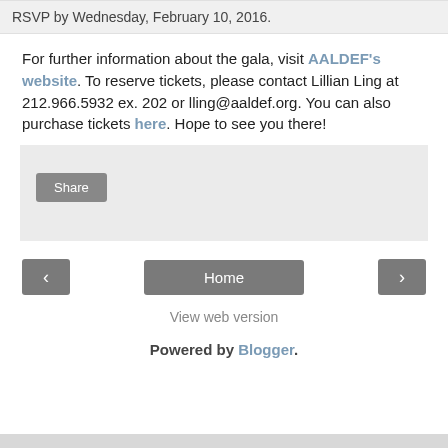RSVP by Wednesday, February 10, 2016.
For further information about the gala, visit AALDEF's website. To reserve tickets, please contact Lillian Ling at 212.966.5932 ex. 202 or lling@aaldef.org. You can also purchase tickets here. Hope to see you there!
[Figure (other): Share button box with grey background]
< Home >
View web version
Powered by Blogger.